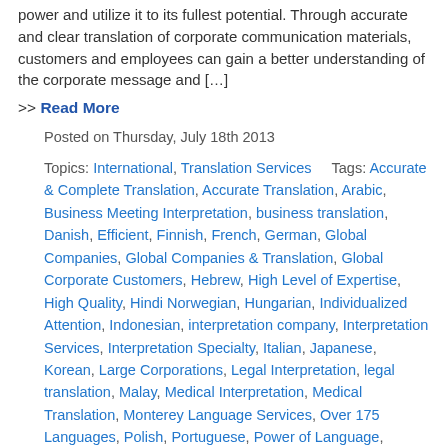power and utilize it to its fullest potential. Through accurate and clear translation of corporate communication materials, customers and employees can gain a better understanding of the corporate message and […]
>> Read More
Posted on Thursday, July 18th 2013
Topics: International, Translation Services    Tags: Accurate & Complete Translation, Accurate Translation, Arabic, Business Meeting Interpretation, business translation, Danish, Efficient, Finnish, French, German, Global Companies, Global Companies & Translation, Global Corporate Customers, Hebrew, High Level of Expertise, High Quality, Hindi Norwegian, Hungarian, Individualized Attention, Indonesian, interpretation company, Interpretation Services, Interpretation Specialty, Italian, Japanese, Korean, Large Corporations, Legal Interpretation, legal translation, Malay, Medical Interpretation, Medical Translation, Monterey Language Services, Over 175 Languages, Polish, Portuguese, Power of Language, Professional, Request a Quote, Russian, Simplified Chinese, Spanish, Swedish, Tagalog, Technical Interpretation, Technical translation, the highest quality, Traditional Chinese, translation company, Translation of Corporate Communication Materials, Translation of Corporate Guidelines, Translation of Corporate Message, Translation Projects, Translation Services, Translation Specialty, Turkish, Vietnamese